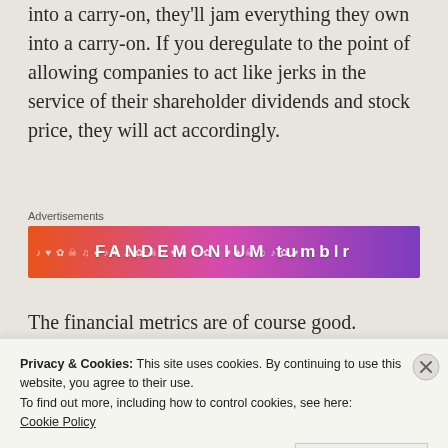into a carry-on, they'll jam everything they own into a carry-on. If you deregulate to the point of allowing companies to act like jerks in the service of their shareholder dividends and stock price, they will act accordingly.
[Figure (other): Advertisement banner for Fandemonium on Tumblr with colorful gradient background from orange to purple with music and skull icons]
The financial metrics are of course good. Once-struggling industries like the airlines
Privacy & Cookies: This site uses cookies. By continuing to use this website, you agree to their use.
To find out more, including how to control cookies, see here:
Cookie Policy
Close and accept